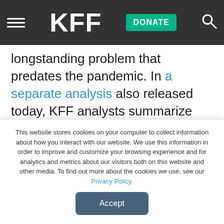KFF — DONATE
longstanding problem that predates the pandemic. In a separate analysis also released today, KFF analysts summarize federal and state standards related to nursing home staffing prior to COVID-19 and identify changes that states have made to minimum staffing requirements during the pandemic. They also examine state legislative and regulatory actions
This website stores cookies on your computer to collect information about how you interact with our website. We use this information in order to improve and customize your browsing experience and for analytics and metrics about our visitors both on this website and other media. To find out more about the cookies we use, see our Privacy Policy.
Accept